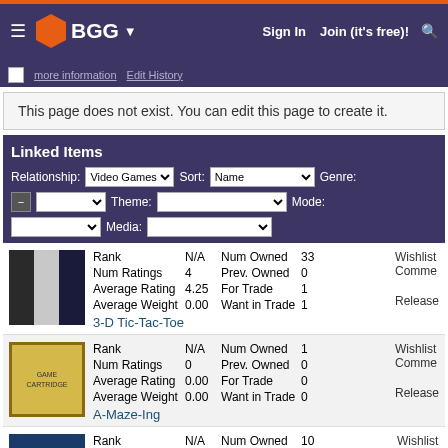BGG — Sign In  Join (it's free)!
This page does not exist. You can edit this page to create it.
Linked Items
Relationship: Video Games  Sort: Name  Genre: Theme: Mode: Media:
| Item | Rank | Num Owned | Wishlist | Num Ratings | Prev. Owned | Comments | Average Rating | For Trade | Release | Average Weight | Want in Trade |
| --- | --- | --- | --- | --- | --- | --- | --- | --- | --- | --- | --- |
| 3-D Tic-Tac-Toe | N/A | 33 | Wishlist | 4 | 0 | Comments | 4.25 | 1 | Release | 0.00 | 1 |
| A-Maze-Ing | N/A | 1 | Wishlist | 0 | 0 | Comments | 0.00 | 0 | Release | 0.00 | 0 |
| (third item) | N/A | 10 | Wishlist | 1 | 0 | Comments |  |  |  |  |  |